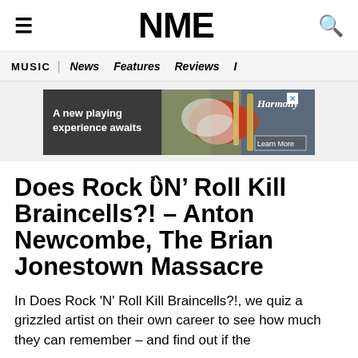NME
MUSIC | News Features Reviews I
[Figure (photo): Advertisement banner: guitar player with text 'A new playing experience awaits' and Harmony brand logo with 'Learn More' button]
Does Rock ‘N’ Roll Kill Braincells?! – Anton Newcombe, The Brian Jonestown Massacre
In Does Rock 'N' Roll Kill Braincells?!, we quiz a grizzled artist on their own career to see how much they can remember – and find out if the